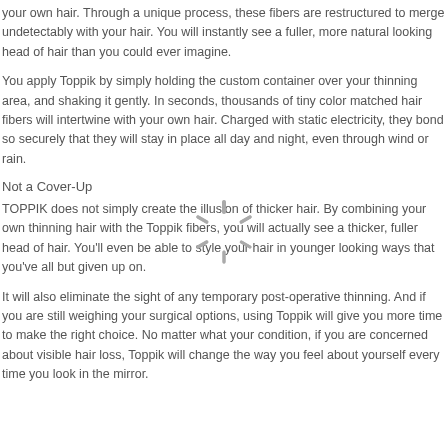your own hair. Through a unique process, these fibers are restructured to merge undetectably with your hair. You will instantly see a fuller, more natural looking head of hair than you could ever imagine.
You apply Toppik by simply holding the custom container over your thinning area, and shaking it gently. In seconds, thousands of tiny color matched hair fibers will intertwine with your own hair. Charged with static electricity, they bond so securely that they will stay in place all day and night, even through wind or rain.
Not a Cover-Up
TOPPIK does not simply create the illusion of thicker hair. By combining your own thinning hair with the Toppik fibers, you will actually see a thicker, fuller head of hair. You'll even be able to style your hair in younger looking ways that you've all but given up on.
It will also eliminate the sight of any temporary post-operative thinning. And if you are still weighing your surgical options, using Toppik will give you more time to make the right choice. No matter what your condition, if you are concerned about visible hair loss, Toppik will change the way you feel about yourself every time you look in the mirror.
[Figure (other): Loading spinner icon — a circular burst of radiating lines in gray]